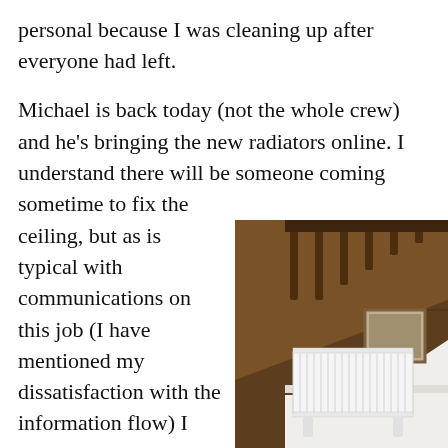personal because I was cleaning up after everyone had left.
Michael is back today (not the whole crew) and he’s bringing the new radiators online. I understand there will be someone coming sometime to fix the ceiling, but as is typical with communications on this job (I have mentioned my dissatisfaction with the information flow) I don’t know who or when. Since there is no longer a key in the lock but they will
[Figure (photo): A white radiator installed at the base of a staircase with dark wood paneling and banisters, stone tile floor, and a framed picture hanging on the white wall.]